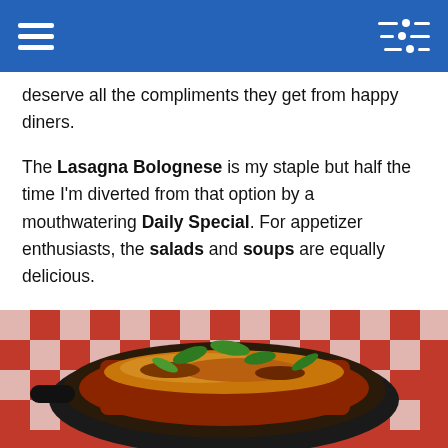[Navigation bar with hamburger menu and sliders icon]
deserve all the compliments they get from happy diners.
The Lasagna Bolognese is my staple but half the time I'm diverted from that option by a mouthwatering Daily Special. For appetizer enthusiasts, the salads and soups are equally delicious.
[Figure (photo): A cast iron skillet containing lasagna bolognese topped with fresh basil/arugula leaves, served on a red and white checkered tablecloth.]